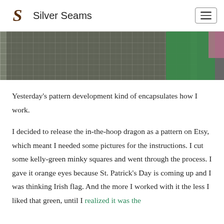Silver Seams
[Figure (photo): Photo of a cutting mat with grid lines and a kelly-green piece of minky fabric being held, with a pink element visible at top right.]
Yesterday's pattern development kind of encapsulates how I work.
I decided to release the in-the-hoop dragon as a pattern on Etsy, which meant I needed some pictures for the instructions. I cut some kelly-green minky squares and went through the process. I gave it orange eyes because St. Patrick's Day is coming up and I was thinking Irish flag. And the more I worked with it the less I liked that green, until I realized it was the